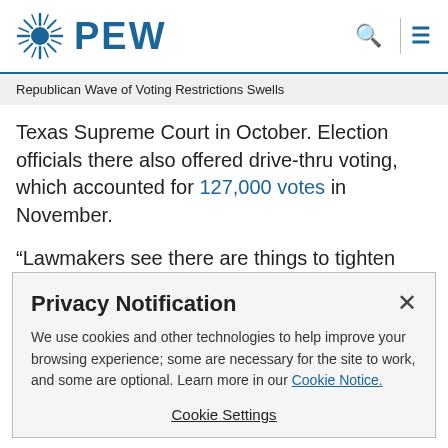PEW
Republican Wave of Voting Restrictions Swells
Texas Supreme Court in October. Election officials there also offered drive-thru voting, which accounted for 127,000 votes in November.
“Lawmakers see there are things to tighten up,” said Chuck DeVore, vice president of national initiatives at the Texas
Privacy Notification
We use cookies and other technologies to help improve your browsing experience; some are necessary for the site to work, and some are optional. Learn more in our Cookie Notice.
Cookie Settings